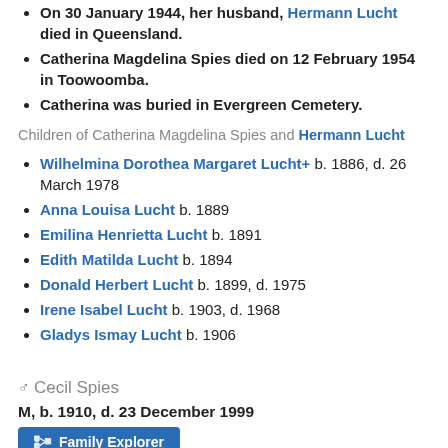On 30 January 1944, her husband, Hermann Lucht died in Queensland.
Catherina Magdelina Spies died on 12 February 1954 in Toowoomba.
Catherina was buried in Evergreen Cemetery.
Children of Catherina Magdelina Spies and Hermann Lucht
Wilhelmina Dorothea Margaret Lucht+ b. 1886, d. 26 March 1978
Anna Louisa Lucht b. 1889
Emilina Henrietta Lucht b. 1891
Edith Matilda Lucht b. 1894
Donald Herbert Lucht b. 1899, d. 1975
Irene Isabel Lucht b. 1903, d. 1968
Gladys Ismay Lucht b. 1906
Cecil Spies
M, b. 1910, d. 23 December 1999
Family Explorer
Cecil Spies was born in 1910 in Queensland.
He was the son of Adolf Spies and A...